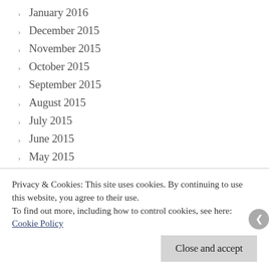January 2016
December 2015
November 2015
October 2015
September 2015
August 2015
July 2015
June 2015
May 2015
April 2015
March 2015
Privacy & Cookies: This site uses cookies. By continuing to use this website, you agree to their use. To find out more, including how to control cookies, see here: Cookie Policy